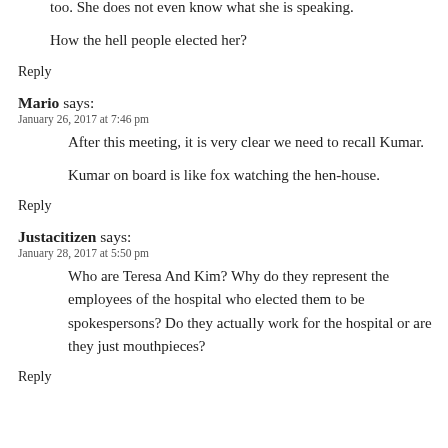too. She does not even know what she is speaking.

How the hell people elected her?
Reply
Mario says:
January 26, 2017 at 7:46 pm
After this meeting, it is very clear we need to recall Kumar.

Kumar on board is like fox watching the hen-house.
Reply
Justacitizen says:
January 28, 2017 at 5:50 pm
Who are Teresa And Kim? Why do they represent the employees of the hospital who elected them to be spokespersons? Do they actually work for the hospital or are they just mouthpieces?
Reply